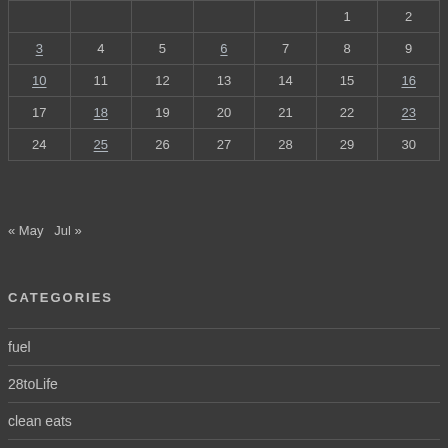|  |  |  |  |  | 1 | 2 |
| 3 | 4 | 5 | 6 | 7 | 8 | 9 |
| 10 | 11 | 12 | 13 | 14 | 15 | 16 |
| 17 | 18 | 19 | 20 | 21 | 22 | 23 |
| 24 | 25 | 26 | 27 | 28 | 29 | 30 |
« May   Jul »
CATEGORIES
fuel
28toLife
clean eats
clean recipes